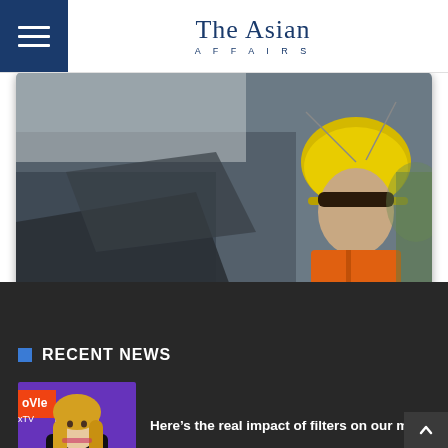The Asian Affairs
[Figure (photo): A rescue worker wearing a yellow helmet and orange vest against a blurred background of machinery or vehicles]
RECENT NEWS
[Figure (photo): Young blonde woman at what appears to be an MTV awards event, purple background]
Here's the real impact of filters on our minds
[Figure (photo): Woman at a public gathering raising her hand, Argentina vice president protest scene]
The attempt to kill Argentina's vice president shook the country
[Figure (photo): Thai transgender cabaret performer with colorful makeup and costume]
Thai transgender cabaret reopens following